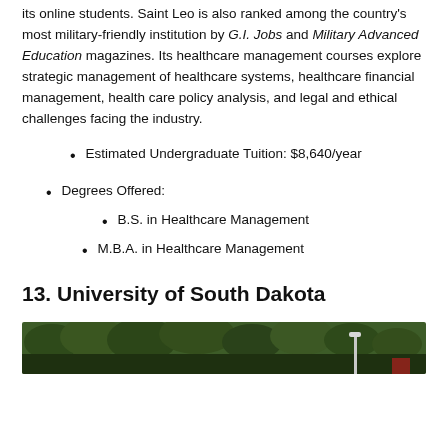its online students. Saint Leo is also ranked among the country's most military-friendly institution by G.I. Jobs and Military Advanced Education magazines. Its healthcare management courses explore strategic management of healthcare systems, healthcare financial management, health care policy analysis, and legal and ethical challenges facing the industry.
Estimated Undergraduate Tuition: $8,640/year
Degrees Offered:
B.S. in Healthcare Management
M.B.A. in Healthcare Management
13. University of South Dakota
[Figure (photo): Outdoor campus photo showing trees and a lamp post, University of South Dakota]